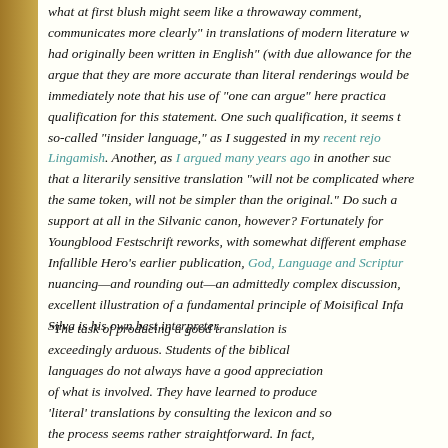what at first blush might seem like a throwaway comment, communicates more clearly" in translations of modern literature w had originally been written in English" (with due allowance for the argue that they are more accurate than literal renderings would be immediately note that his use of "one can argue" here practica qualification for this statement. One such qualification, it seems t so-called "insider language," as I suggested in my recent rejo Lingamish. Another, as I argued many years ago in another suc that a literarily sensitive translation "will not be complicated where the same token, will not be simpler than the original." Do such a support at all in the Silvanic canon, however? Fortunately for Youngblood Festschrift reworks, with somewhat different emphase Infallible Hero's earlier publication, God, Language and Scriptur nuancing—and rounding out—an admittedly complex discussion, excellent illustration of a fundamental principle of Moisifical Infa Silva is his own best interpreter.
"The task of producing a good translation is exceedingly arduous. Students of the biblical languages do not always have a good appreciation of what is involved. They have learned to produce 'literal' translations by consulting the lexicon and so the process seems rather straightforward. In fact,